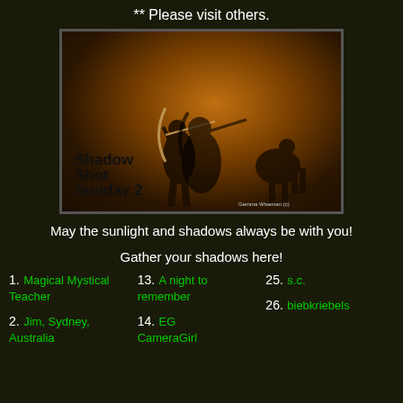** Please visit others.
[Figure (photo): Shadow Shot Sunday 2 promotional image showing archer figurine silhouettes against a warm amber/brown brick background. Text overlay reads 'Shadow Shot Sunday 2' and small credit text 'Gemma Wiseman (c)']
May the sunlight and shadows always be with you!
Gather your shadows here!
1. Magical Mystical Teacher
13. A night to remember
25. s.c.
2. Jim, Sydney, Australia
14. EG CameraGirl
26. biebkriebels